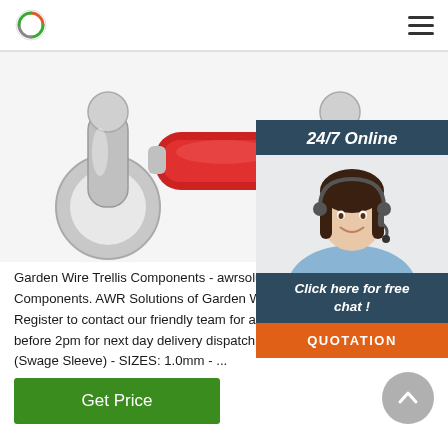AWR Solutions logo and navigation menu
[Figure (photo): Close-up photo of red and silver metal shackle/connector hardware components (Garden Wire Trellis Components)]
Garden Wire Trellis Components - awrsolutions. Garden Wire Trellis Components. AWR Solutions of Garden Wire Trellis Components. Register to contact our friendly team for a FREE quote on 13 Order before 2pm for next day delivery dispatch Copper Nickel Plated Ferrule (Swage Sleeve) - SIZES: 1.0mm - ...
[Figure (infographic): 24/7 Online chat widget with customer service representative photo, 'Click here for free chat!' text, and orange QUOTATION button]
Get Price
[Figure (other): Scroll-to-top circular grey button with upward chevron arrow]